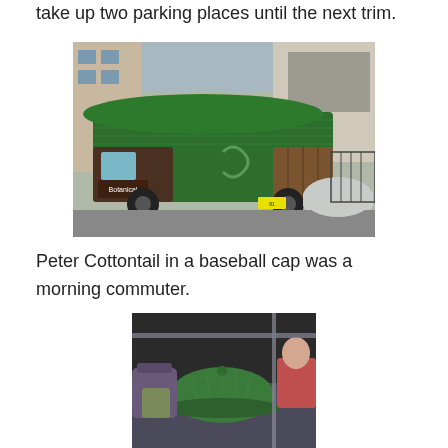take up two parking places until the next trim.
[Figure (photo): A small Japanese delivery truck (kei truck) with its entire body covered in green artificial turf/grass, branded 'Botanical', parked on a street in Japan with buildings and a covered car in the background.]
Peter Cottontail in a baseball cap was a morning commuter.
[Figure (photo): A green mesh/turf baseball cap sitting on a subway seat among commuters and bags.]